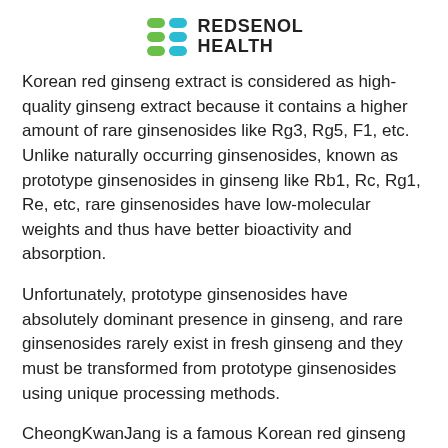[Figure (logo): Redsenol Health logo with green and teal leaf/tab icons on the left and bold text REDSENOL HEALTH on the right]
Korean red ginseng extract is considered as high-quality ginseng extract because it contains a higher amount of rare ginsenosides like Rg3, Rg5, F1, etc. Unlike naturally occurring ginsenosides, known as prototype ginsenosides in ginseng like Rb1, Rc, Rg1, Re, etc, rare ginsenosides have low-molecular weights and thus have better bioactivity and absorption.
Unfortunately, prototype ginsenosides have absolutely dominant presence in ginseng, and rare ginsenosides rarely exist in fresh ginseng and they must be transformed from prototype ginsenosides using unique processing methods.
CheongKwanJang is a famous Korean red ginseng brand and famous for using six-year grown Korean ginseng. The total ginsenoside content of CheongKwanJang used in the clinical study is 3.5-4.8 g/100g.